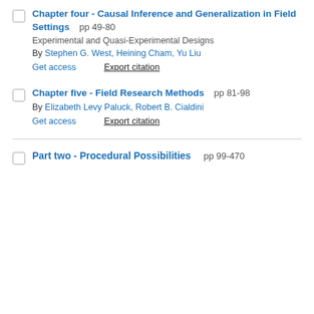Chapter four - Causal Inference and Generalization in Field Settings pp 49-80
Experimental and Quasi-Experimental Designs
By Stephen G. West, Heining Cham, Yu Liu
Get access | Export citation
Chapter five - Field Research Methods pp 81-98
By Elizabeth Levy Paluck, Robert B. Cialdini
Get access | Export citation
Part two - Procedural Possibilities pp 99-470